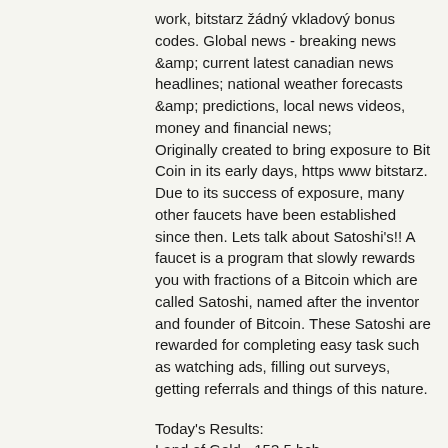work, bitstarz žádný vkladový bonus codes. Global news - breaking news &amp; current latest canadian news headlines; national weather forecasts &amp; predictions, local news videos, money and financial news; Originally created to bring exposure to Bit Coin in its early days, https www bitstarz. Due to its success of exposure, many other faucets have been established since then. Lets talk about Satoshi's!! A faucet is a program that slowly rewards you with fractions of a Bitcoin which are called Satoshi, named after the inventor and founder of Bitcoin. These Satoshi are rewarded for completing easy task such as watching ads, filling out surveys, getting referrals and things of this nature.
Today's Results:
Land of Gold - 153.5 bch